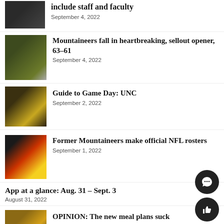[Figure (photo): Partial thumbnail of sports/campus image at top]
include staff and faculty
September 4, 2022
[Figure (photo): Football game crowd scene thumbnail]
Mountaineers fall in heartbreaking, sellout opener, 63–61
September 4, 2022
[Figure (photo): Fans at game day event thumbnail]
Guide to Game Day: UNC
September 2, 2022
[Figure (photo): Football player running on field thumbnail]
Former Mountaineers make official NFL rosters
September 1, 2022
App at a glance: Aug. 31 – Sept. 3
August 31, 2022
[Figure (photo): Dining hall/meal plan thumbnail]
OPINION: The new meal plans suck
August 30, 2022